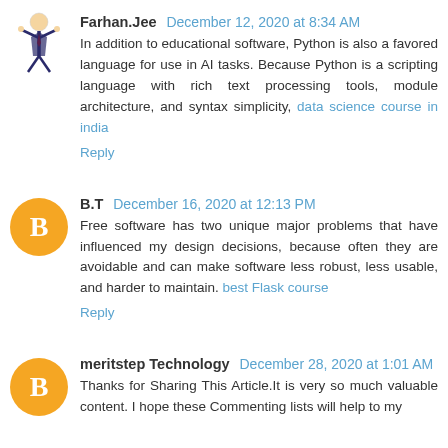Farhan.Jee December 12, 2020 at 8:34 AM
In addition to educational software, Python is also a favored language for use in AI tasks. Because Python is a scripting language with rich text processing tools, module architecture, and syntax simplicity, data science course in india
Reply
B.T December 16, 2020 at 12:13 PM
Free software has two unique major problems that have influenced my design decisions, because often they are avoidable and can make software less robust, less usable, and harder to maintain. best Flask course
Reply
meritstep Technology December 28, 2020 at 1:01 AM
Thanks for Sharing This Article.It is very so much valuable content. I hope these Commenting lists will help to my